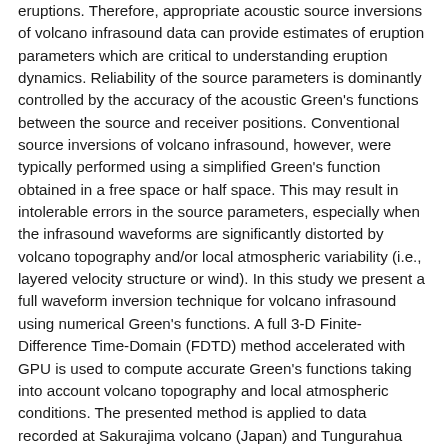eruptions. Therefore, appropriate acoustic source inversions of volcano infrasound data can provide estimates of eruption parameters which are critical to understanding eruption dynamics. Reliability of the source parameters is dominantly controlled by the accuracy of the acoustic Green's functions between the source and receiver positions. Conventional source inversions of volcano infrasound, however, were typically performed using a simplified Green's function obtained in a free space or half space. This may result in intolerable errors in the source parameters, especially when the infrasound waveforms are significantly distorted by volcano topography and/or local atmospheric variability (i.e., layered velocity structure or wind). In this study we present a full waveform inversion technique for volcano infrasound using numerical Green's functions. A full 3-D Finite-Difference Time-Domain (FDTD) method accelerated with GPU is used to compute accurate Green's functions taking into account volcano topography and local atmospheric conditions. The presented method is applied to data recorded at Sakurajima volcano (Japan) and Tungurahua volcano (Ecuador), which provide a large volume of high-quality data recorded by azimuthally well-distributed stations within 2 -- 6 km distance of the volcanoes. We analyze infrasound signals associated with